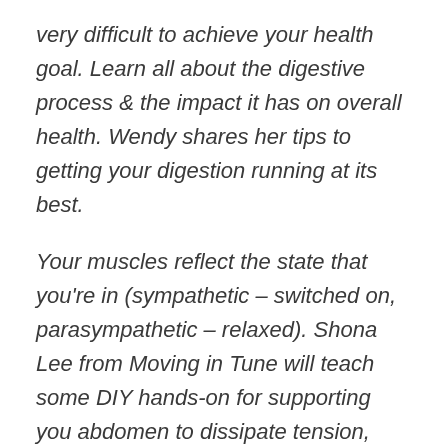very difficult to achieve your health goal. Learn all about the digestive process & the impact it has on overall health. Wendy shares her tips to getting your digestion running at its best.
Your muscles reflect the state that you're in (sympathetic – switched on, parasympathetic – relaxed). Shona Lee from Moving in Tune will teach some DIY hands-on for supporting you abdomen to dissipate tension, incorporating breath and movement of your pelvis to give your organs more internal room for functioning at their best.